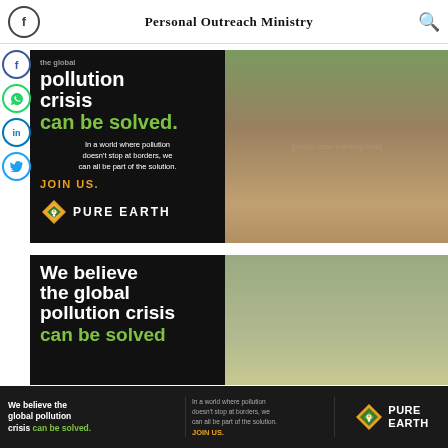Personal Outreach Ministry
[Figure (screenshot): Pure Earth advertisement banner: black background with text 'the global pollution crisis can be solved.' in white/green, body text 'In a world where pollution doesn't stop at borders, we can all be part of the solution.', JOIN US. in orange, Pure Earth logo, and a photo of a man in a white cap planting a tree.]
[Figure (screenshot): Pure Earth advertisement banner (second instance): black background with text 'We believe the global pollution crisis can be solved' in white/green, partially visible, same style as first banner.]
[Figure (screenshot): Sticky bottom bar: Pure Earth ad with text 'We believe the global pollution crisis can be solved.' in white/green, body text about pollution, JOIN US. in orange, and Pure Earth logo.]